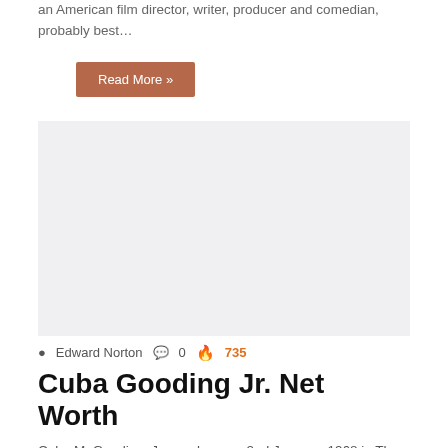an American film director, writer, producer and comedian, probably best…
Read More »
[Figure (photo): Large light gray image placeholder for an article about Cuba Gooding Jr.]
Edward Norton  0  735
Cuba Gooding Jr. Net Worth
Cuba M. Gooding, Jr. was born on 2nd January, 1968 in The Bronx, New York City, USA, of Barbadian descent. He is an actor who rose to prominence for his…
Read More »